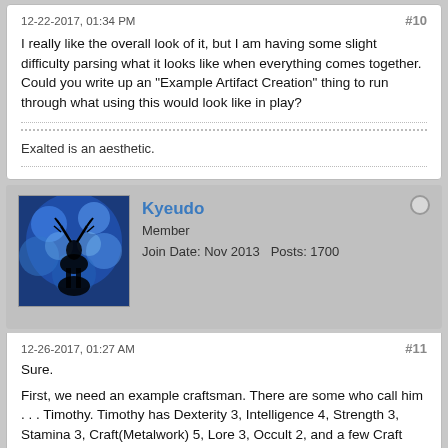12-22-2017, 01:34 PM   #10
I really like the overall look of it, but I am having some slight difficulty parsing what it looks like when everything comes together. Could you write up an "Example Artifact Creation" thing to run through what using this would look like in play?
Exalted is an aesthetic.
[Figure (photo): User avatar: blue fractal/crystal pattern with dark silhouette of a deer]
Kyeudo
Member
Join Date: Nov 2013   Posts: 1700
12-26-2017, 01:27 AM   #11
Sure.

First, we need an example craftsman. There are some who call him . . . Timothy. Timothy has Dexterity 3, Intelligence 4, Strength 3, Stamina 3, Craft(Metalwork) 5, Lore 3, Occult 2, and a few Craft Charms - the Craft Excellency, Craftsman Needs No Tools, Flawless Handiwork Method, Supreme Perfection of Craft, and Design Beyond Limit - and is about to attempt the creation of his first Artifact. People who know the rules might notice he's a bit of a powerhouse - that's intentional.